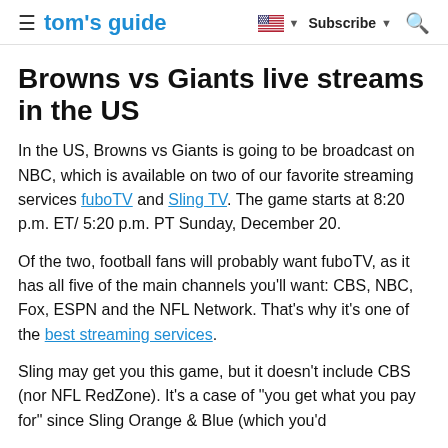tom's guide | Subscribe | Search
Browns vs Giants live streams in the US
In the US, Browns vs Giants is going to be broadcast on NBC, which is available on two of our favorite streaming services fuboTV and Sling TV. The game starts at 8:20 p.m. ET/ 5:20 p.m. PT Sunday, December 20.
Of the two, football fans will probably want fuboTV, as it has all five of the main channels you'll want: CBS, NBC, Fox, ESPN and the NFL Network. That's why it's one of the best streaming services.
Sling may get you this game, but it doesn't include CBS (nor NFL RedZone). It's a case of "you get what you pay for" since Sling Orange & Blue (which you'd